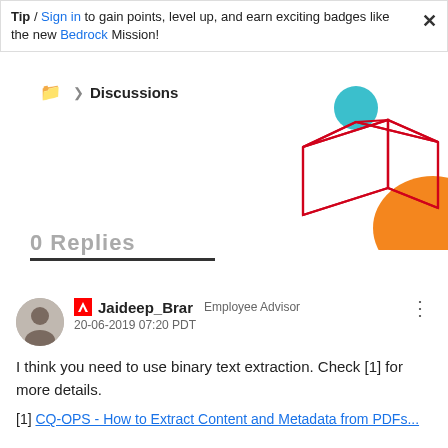Tip  /  Sign in  to gain points, level up, and earn exciting badges like the new Bedrock  Mission!
Discussions
[Figure (illustration): Abstract 3D wireframe geometric shape in red lines with a teal/blue circle and orange semicircle decorative graphic]
0 Replies
Jaideep_Brar  Employee Advisor
20-06-2019 07:20 PDT
I think you need to use binary text extraction. Check [1] for more details.
[1] CQ-OPS - How to Extract Content and Metadata from PDFs...